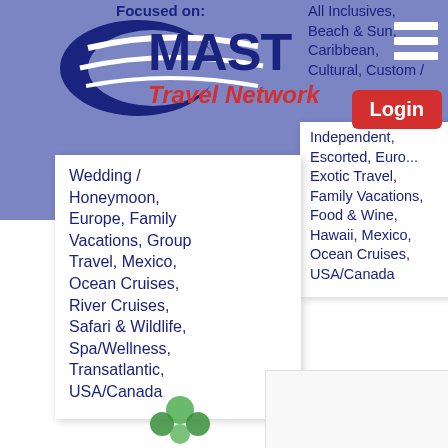[Figure (logo): MAST Travel Network logo — dark blue crescent/swoosh shape with white stripes, bold dark blue 'MAST' text and red italic 'Travel Network' text]
Focused on:
All Inclusives, Beach & Sun, Caribbean, Cultural, Custom / Independent, Escorted, Euro..., Exotic Travel, Family Vacations, Food & Wine, Hawaii, Mexico, Ocean Cruises, USA/Canada
Wedding / Honeymoon, Europe, Family Vacations, Group Travel, Mexico, Ocean Cruises, River Cruises, Safari & Wildlife, Spa/Wellness, Transatlantic, USA/Canada
[Figure (illustration): Small green icon with circular shapes at bottom left]
[Figure (other): White card/panel at bottom right, partially visible]